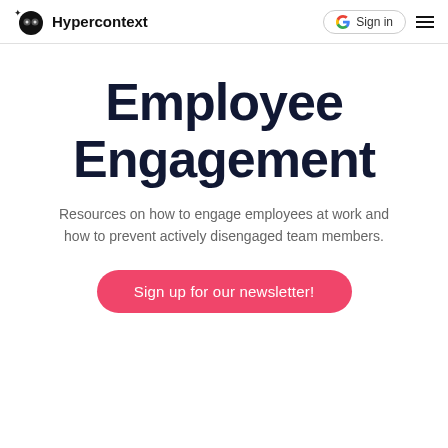Hypercontext — Sign in
Employee Engagement
Resources on how to engage employees at work and how to prevent actively disengaged team members.
Sign up for our newsletter!